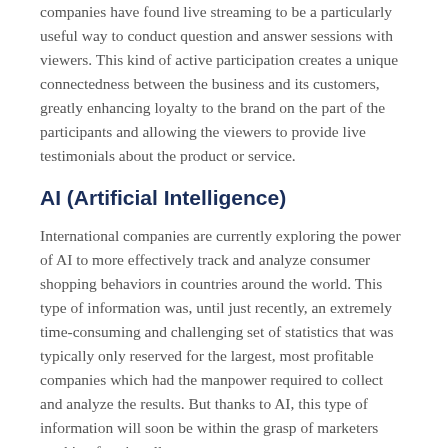companies have found live streaming to be a particularly useful way to conduct question and answer sessions with viewers. This kind of active participation creates a unique connectedness between the business and its customers, greatly enhancing loyalty to the brand on the part of the participants and allowing the viewers to provide live testimonials about the product or service.
AI (Artificial Intelligence)
International companies are currently exploring the power of AI to more effectively track and analyze consumer shopping behaviors in countries around the world. This type of information was, until just recently, an extremely time-consuming and challenging set of statistics that was typically only reserved for the largest, most profitable companies which had the manpower required to collect and analyze the results. But thanks to AI, this type of information will soon be within the grasp of marketers working for virtually any